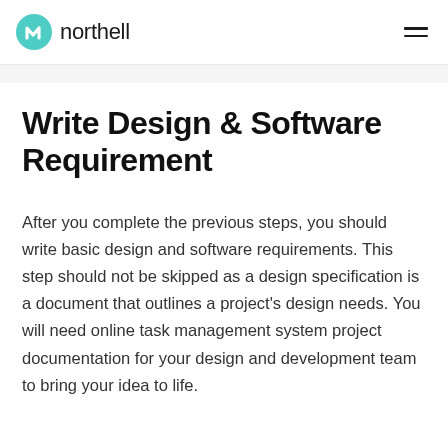northell
Write Design & Software Requirement
After you complete the previous steps, you should write basic design and software requirements. This step should not be skipped as a design specification is a document that outlines a project's design needs. You will need online task management system project documentation for your design and development team to bring your idea to life.